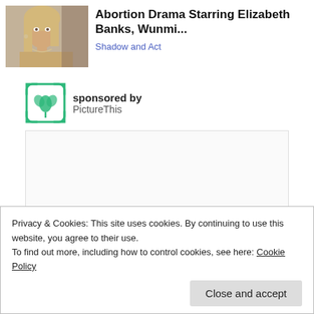[Figure (photo): Thumbnail photo of a blonde woman, appears to be a movie still]
Abortion Drama Starring Elizabeth Banks, Wunmi...
Shadow and Act
[Figure (logo): PictureThis app logo — green plant/flower inside a square frame with rounded corners]
sponsored by PictureThis
[Figure (other): Advertisement placeholder box (empty)]
Privacy & Cookies: This site uses cookies. By continuing to use this website, you agree to their use.
To find out more, including how to control cookies, see here: Cookie Policy
Close and accept